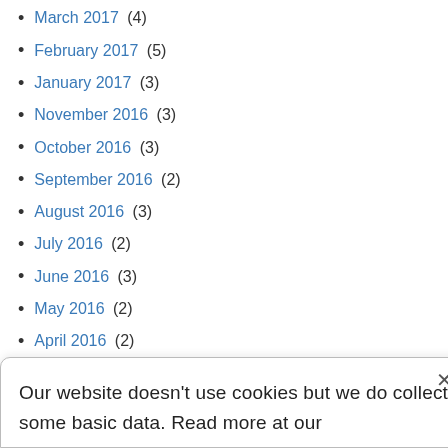March 2017 (4)
February 2017 (5)
January 2017 (3)
November 2016 (3)
October 2016 (3)
September 2016 (2)
August 2016 (3)
July 2016 (2)
June 2016 (3)
May 2016 (2)
April 2016 (2)
March 2016 (1)
January 2016 (4)
December 2015 (6)
Our website doesn't use cookies but we do collect some basic data. Read more at our